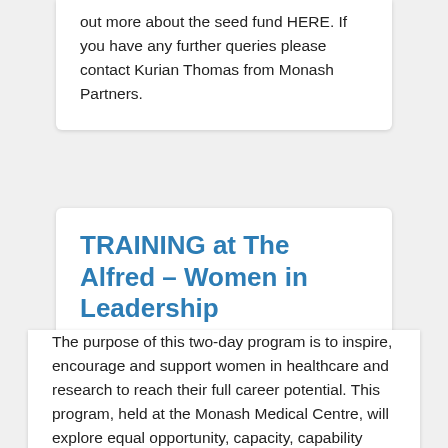out more about the seed fund HERE. If you have any further queries please contact Kurian Thomas from Monash Partners.
TRAINING at The Alfred – Women in Leadership
The purpose of this two-day program is to inspire, encourage and support women in healthcare and research to reach their full career potential. This program, held at the Monash Medical Centre, will explore equal opportunity, capacity, capability building and career strategic planning as well as providing supportive networks and partnerships. This course was recently run at The Alfred campus to great applause. An ...